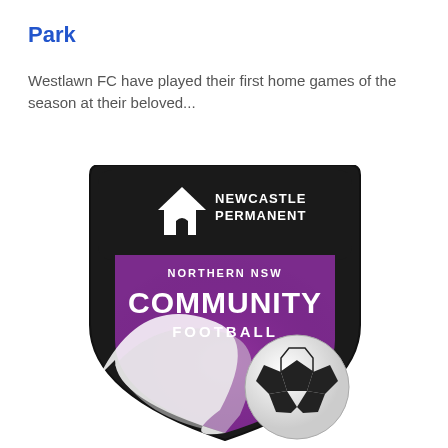Park
Westlawn FC have played their first home games of the season at their beloved...
[Figure (logo): Newcastle Permanent Northern NSW Community Football logo — a shield-shaped badge with a black top banner containing the Newcastle Permanent house logo and text, a purple central area with 'NORTHERN NSW COMMUNITY FOOTBALL' text, a white swoosh graphic, and a soccer ball in the lower right.]